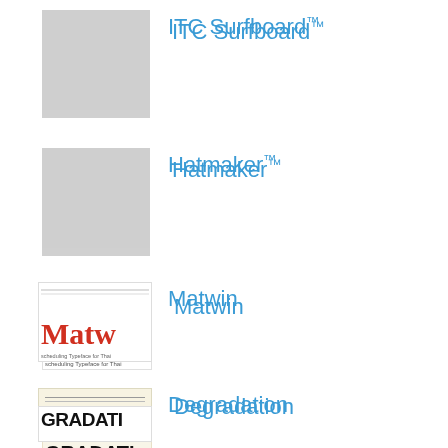[Figure (logo): Gray placeholder thumbnail for ITC Surfboard font]
ITC Surfboard™
[Figure (logo): Gray placeholder thumbnail for Hatmaker font]
Hatmaker™
[Figure (logo): Matwin font logo showing red lettering 'Matw' on white background]
Matwin
[Figure (logo): Degradation font logo showing 'GRADATI' in bold black letters on aged paper background]
Degradation
[Figure (logo): Gray placeholder thumbnail for Folkard font]
Folkard